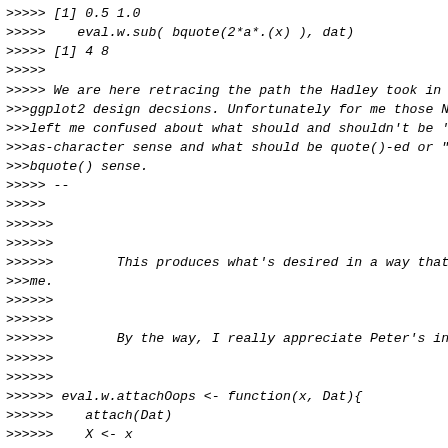>>>>> [1] 0.5 1.0
>>>>>    eval.w.sub( bquote(2*a*.(x) ), dat)
>>>>> [1] 4 8
>>>>>
>>>>> We are here retracing the path the Hadley took in some of his
>>>ggplot2 design decsions. Unfortunately for me those NSE rules often
>>>left me confused about what should and shouldn't be 'quoted' in the
>>>as-character sense and what should be quote()-ed or "unquoted" in the
>>>bquote() sense.
>>>>> --
>>>>>
>>>>>>
>>>>>>
>>>>>>        This produces what's desired in a way that seems simpler to
>>>me.
>>>>>>
>>>>>>
>>>>>>        By the way, I really appreciate Peter's insightful comments:
>>>>>>
>>>>>>
>>>>>> eval.w.attachOops <- function(x, Dat){
>>>>>>    attach(Dat)
>>>>>>    X <- x
>>>>>>    detach()
>>>>>>